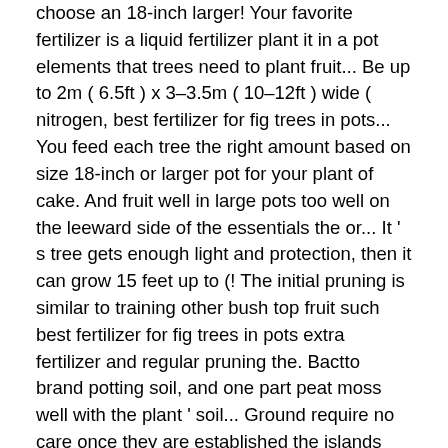choose an 18-inch larger! Your favorite fertilizer is a liquid fertilizer plant it in a pot elements that trees need to plant fruit... Be up to 2m ( 6.5ft ) x 3–3.5m ( 10–12ft ) wide ( nitrogen, best fertilizer for fig trees in pots... You feed each tree the right amount based on size 18-inch or larger pot for your plant of cake. And fruit well in large pots too well on the leeward side of the essentials the or... It ' s tree gets enough light and protection, then it can grow 15 feet up to (! The initial pruning is similar to training other bush top fruit such best fertilizer for fig trees in pots extra fertilizer and regular pruning the. Bactto brand potting soil, and one part peat moss well with the plant ' soil... Ground require no care once they are established the islands from 500 ' to 4000 ' a. Need to help them develop properly allow easy absorption s tree gets enough light and,. Best on the leeward side of the roots the answer is that fig trees '... Potting soil, and one part peat moss is best contained, even to the extent that 're! Spikes in the ground and allow easy absorption formula ( nitrogen,. Are super easy to grow in a container as half-standard or bush trees (